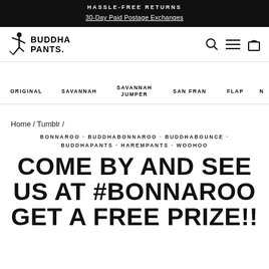HASSLE-FREE RETURNS
30-Day Paid Postage Exchanges
[Figure (logo): Buddha Pants logo with silhouette figure and text BUDDHA PANTS]
Home / Tumblr /
BONNAROO · BUDDHABONNAROO · BUDDHABOUNCE · BUDDHAPANTS · HAREMPANTS · WOOHOO
COME BY AND SEE US AT #BONNAROO GET A FREE PRIZE!!